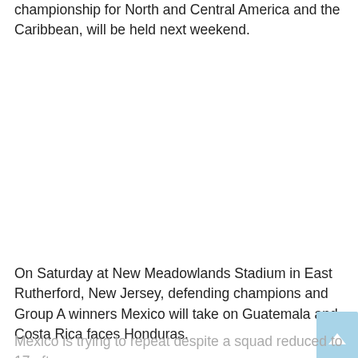championship for North and Central America and the Caribbean, will be held next weekend.
On Saturday at New Meadowlands Stadium in East Rutherford, New Jersey, defending champions and Group A winners Mexico will take on Guatemala and Costa Rica faces Honduras.
Mexico is trying to repeat despite a squad reduced to 17 after